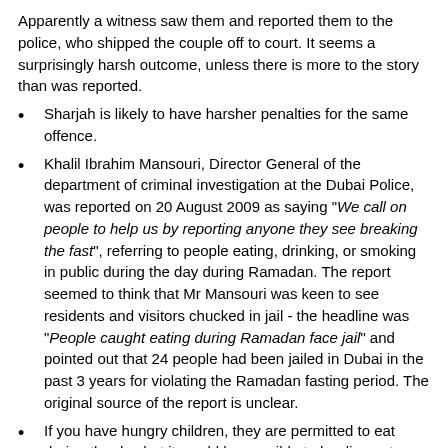Apparently a witness saw them and reported them to the police, who shipped the couple off to court. It seems a surprisingly harsh outcome, unless there is more to the story than was reported.
Sharjah is likely to have harsher penalties for the same offence.
Khalil Ibrahim Mansouri, Director General of the department of criminal investigation at the Dubai Police, was reported on 20 August 2009 as saying "We call on people to help us by reporting anyone they see breaking the fast", referring to people eating, drinking, or smoking in public during the day during Ramadan. The report seemed to think that Mr Mansouri was keen to see residents and visitors chucked in jail - the headline was "People caught eating during Ramadan face jail" and pointed out that 24 people had been jailed in Dubai in the past 3 years for violating the Ramadan fasting period. The original source of the report is unclear.
If you have hungry children, they are permitted to eat during the day but it would be sensible to be discreet about it. If you're desperate for food or drink for them, get a snack at a supermarket or service station, or possibly a restaurant/cafe even if they look closed (knock on the door - there might be someone in the back).